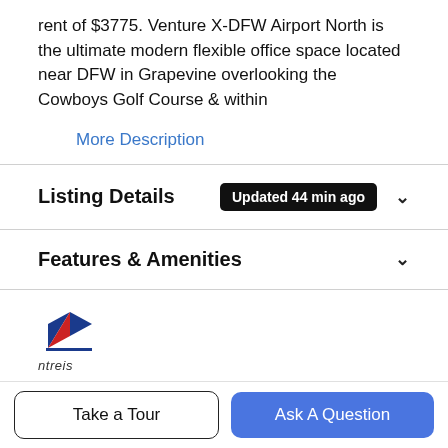rent of $3775. Venture X-DFW Airport North is the ultimate modern flexible office space located near DFW in Grapevine overlooking the Cowboys Golf Course & within
More Description
Listing Details   Updated 44 min ago
Features & Amenities
[Figure (logo): NTREIS logo with stylized house/building icon and the text 'ntreis' below]
Listing information © 2022 North Texas Real Estate Information System.
Schools